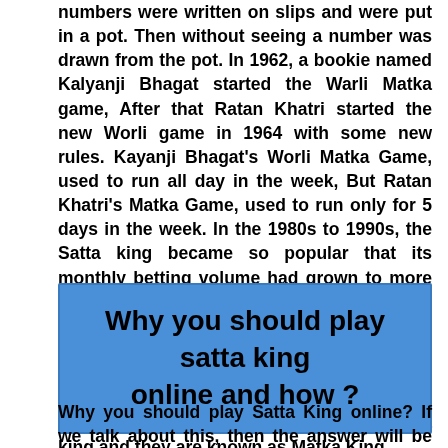numbers were written on slips and were put in a pot. Then without seeing a number was drawn from the pot. In 1962, a bookie named Kalyanji Bhagat started the Warli Matka game, After that Ratan Khatri started the new Worli game in 1964 with some new rules. Kayanji Bhagat's Worli Matka Game, used to run all day in the week, But Ratan Khatri's Matka Game, used to run only for 5 days in the week. In the 1980s to 1990s, the Satta king became so popular that its monthly betting volume had grown to more than 500 crore. Gradually, the Sattaking became popular in other states of India too and large number of people started playing this game. Kalyanji Bhagat, Suresh Bhagat and Ratan Khatri are three such names who have earned a lot of money through Satta king and they are known as Matka King.
Why you should play satta king online and how ?
Why you should play Satta King online? If we talk about this, then the answer will be that you should play Satta king online because it is easy to play Sattaking(सट्टा किंग) in the